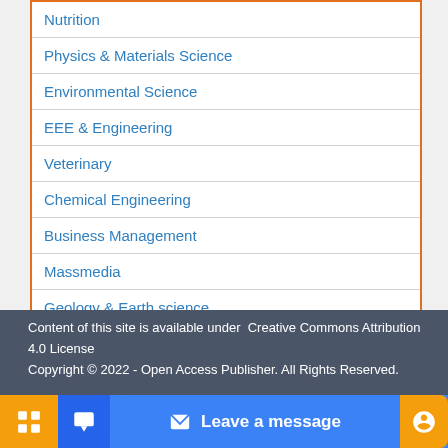| Nutrition |
| Physics & Materials Science |
| Environmental Science |
| EEE & Engineering |
| Veterinary |
| Chemical Engineering |
| Business Management |
| Massmedia |
| Geology & Earth science |
Content of this site is available under Creative Commons Attribution 4.0 License
Copyright © 2022 - Open Access Publisher. All Rights Reserved.